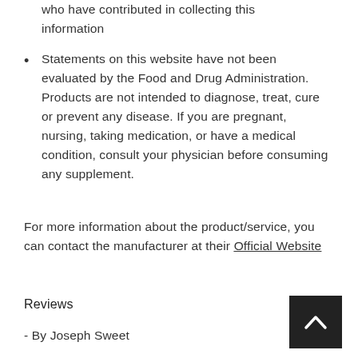who have contributed in collecting this information
Statements on this website have not been evaluated by the Food and Drug Administration. Products are not intended to diagnose, treat, cure or prevent any disease. If you are pregnant, nursing, taking medication, or have a medical condition, consult your physician before consuming any supplement.
For more information about the product/service, you can contact the manufacturer at their Official Website
Reviews
- By Joseph Sweet